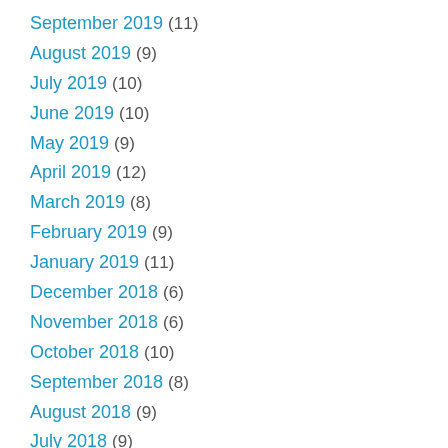September 2019 (11)
August 2019 (9)
July 2019 (10)
June 2019 (10)
May 2019 (9)
April 2019 (12)
March 2019 (8)
February 2019 (9)
January 2019 (11)
December 2018 (6)
November 2018 (6)
October 2018 (10)
September 2018 (8)
August 2018 (9)
July 2018 (9)